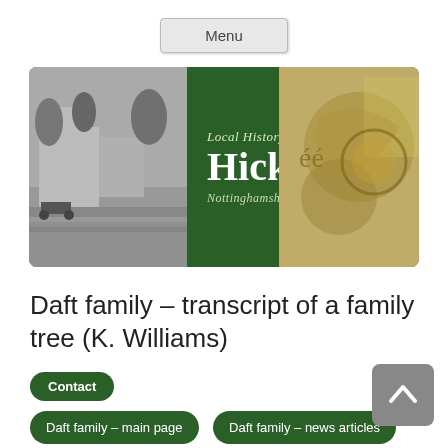Menu
[Figure (illustration): Hickling Local History Group banner with black-and-white village photo on left, green background with 'Local History Group Hickling Nottinghamshire' text in center, and stone carving photo on right]
Daft family – transcript of a family tree (K. Williams)
Contact
Daft family – main page
Daft family – news articles
Daft family – lineage in Hickling & notes